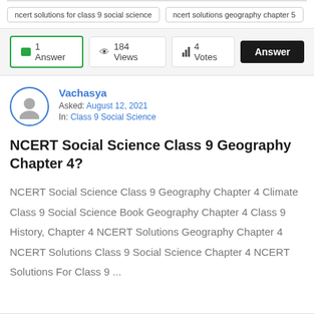ncert solutions for class 9 social science
ncert solutions geography chapter 5
1 Answer  184 Views  4 Votes  Answer
Vachasya
Asked: August 12, 2021
In: Class 9 Social Science
NCERT Social Science Class 9 Geography Chapter 4?
NCERT Social Science Class 9 Geography Chapter 4 Climate Class 9 Social Science Book Geography Chapter 4 Class 9 History, Chapter 4 NCERT Solutions Geography Chapter 4 NCERT Solutions Class 9 Social Science Chapter 4 NCERT Solutions For Class 9 ...